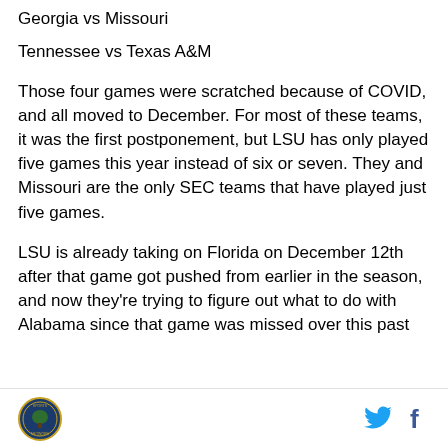Georgia vs Missouri
Tennessee vs Texas A&M
Those four games were scratched because of COVID, and all moved to December. For most of these teams, it was the first postponement, but LSU has only played five games this year instead of six or seven. They and Missouri are the only SEC teams that have played just five games.
LSU is already taking on Florida on December 12th after that game got pushed from earlier in the season, and now they're trying to figure out what to do with Alabama since that game was missed over this past